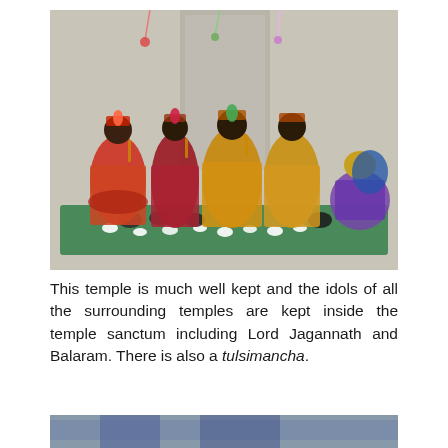[Figure (photo): A photo showing several ornately dressed Hindu deity idols (dark-complexioned figures in colorful silk garments — red, gold/yellow) holding flutes, decorated with flower garlands and feathered headpieces. White flowers are arranged on a green cloth in front. On the right side is a female figure in blue and pink attire. The setting appears to be a temple sanctum.]
This temple is much well kept and the idols of all the surrounding temples are kept inside the temple sanctum including Lord Jagannath and Balaram. There is also a tulsimancha.
[Figure (photo): Partial photo visible at bottom of page — appears to show another temple scene, mostly cropped.]